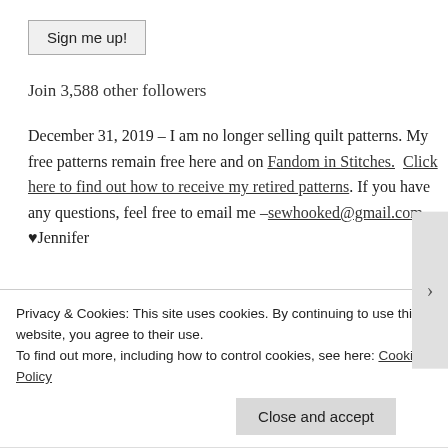Sign me up!
Join 3,588 other followers
December 31, 2019 – I am no longer selling quilt patterns. My free patterns remain free here and on Fandom in Stitches.  Click here to find out how to receive my retired patterns. If you have any questions, feel free to email me – sewhooked@gmail.com. ♥Jennifer
Privacy & Cookies: This site uses cookies. By continuing to use this website, you agree to their use.
To find out more, including how to control cookies, see here: Cookie Policy
Close and accept